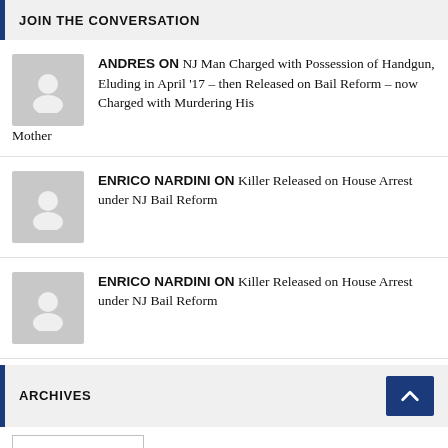JOIN THE CONVERSATION
ANDRES ON NJ Man Charged with Possession of Handgun, Eluding in April '17 – then Released on Bail Reform – now Charged with Murdering His Mother
ENRICO NARDINI ON Killer Released on House Arrest under NJ Bail Reform
ENRICO NARDINI ON Killer Released on House Arrest under NJ Bail Reform
ARCHIVES